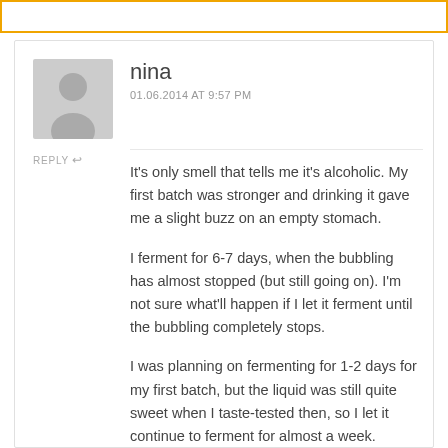nina
01.06.2014 AT 9:57 PM
REPLY
It's only smell that tells me it's alcoholic. My first batch was stronger and drinking it gave me a slight buzz on an empty stomach.

I ferment for 6-7 days, when the bubbling has almost stopped (but still going on). I'm not sure what'll happen if I let it ferment until the bubbling completely stops.

I was planning on fermenting for 1-2 days for my first batch, but the liquid was still quite sweet when I taste-tested then, so I let it continue to ferment for almost a week.

The last ferment for the...